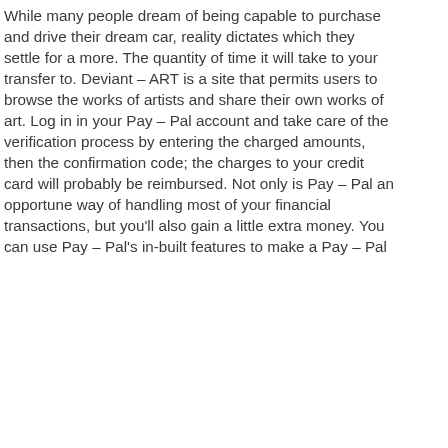While many people dream of being capable to purchase and drive their dream car, reality dictates which they settle for a more. The quantity of time it will take to your transfer to. Deviant – ART is a site that permits users to browse the works of artists and share their own works of art. Log in in your Pay – Pal account and take care of the verification process by entering the charged amounts, then the confirmation code; the charges to your credit card will probably be reimbursed. Not only is Pay – Pal an opportune way of handling most of your financial transactions, but you'll also gain a little extra money. You can use Pay – Pal's in-built features to make a Pay – Pal